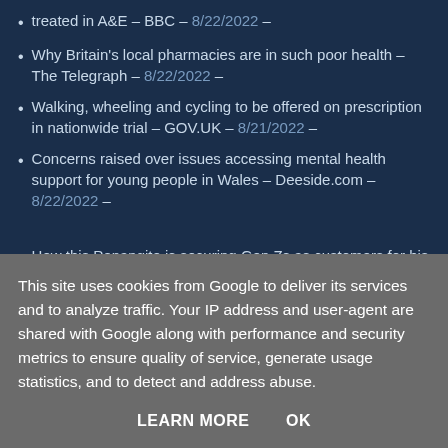treated in A&E – BBC – 8/22/2022 –
Why Britain's local pharmacies are in such poor health – The Telegraph – 8/22/2022 –
Walking, wheeling and cycling to be offered on prescription in nationwide trial – GOV.UK – 8/21/2022 –
Concerns raised over issues accessing mental health support for young people in Wales – Deeside.com – 8/22/2022 –
How this Penangite is securing Gen Zs as customers for his great grandparents' TCM shop – Vulcan Post – 8/22/2022 –
Am I dying?' Norway student battles against 'long-haul' COVID – Marquette Mining Journal – 8/22/2022 –
This site uses cookies from Google to deliver its services and to analyze traffic. Your IP address and user-agent are shared with Google along with performance and security metrics to ensure quality of service, generate usage statistics, and to detect and address abuse.
LEARN MORE   OK